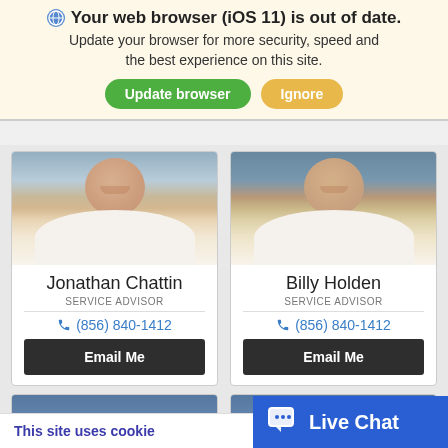🌐 Your web browser (iOS 11) is out of date. Update your browser for more security, speed and the best experience on this site.
Update browser | Ignore
[Figure (photo): Headshot of Jonathan Chattin, a young man in a white shirt against a blue background]
Jonathan Chattin
SERVICE ADVISOR
(856) 840-1412
Email Me
[Figure (photo): Headshot of Billy Holden, a young man in a white shirt against a blue background]
Billy Holden
SERVICE ADVISOR
(856) 840-1412
Email Me
This site uses cookie
Live Chat